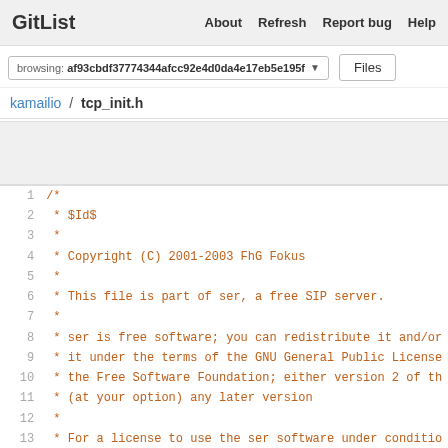GitList   About   Refresh   Report bug   Help
browsing: af93cbdf37774344afcc92e4d0da4e17eb5e195f
Files
kamailio / tcp_init.h
1  /*
2   * $Id$
3   *
4   * Copyright (C) 2001-2003 FhG Fokus
5   *
6   * This file is part of ser, a free SIP server.
7   *
8   * ser is free software; you can redistribute it and/or
9   * it under the terms of the GNU General Public License
10  * the Free Software Foundation; either version 2 of th
11  * (at your option) any later version
12  *
13  * For a license to use the ser software under conditio
14  * other than those described here, or to purchase supp
15  * software, please contact intel.org by e mail at the